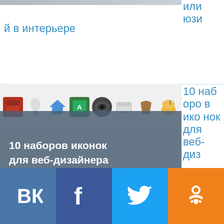или юзи
й в интерьере
[Figure (screenshot): 10 наборов иконок для веб-дизайнера бесплатно — карточка статьи с иконками и overlay заголовком]
10 наборов иконок для веб-дизайнера бесплатно
айнера бесплатно
[Figure (screenshot): Третья статья — начало]
Соц
[Figure (infographic): Social sharing buttons: ВКонтакте, Facebook, Twitter, Одноклассники]